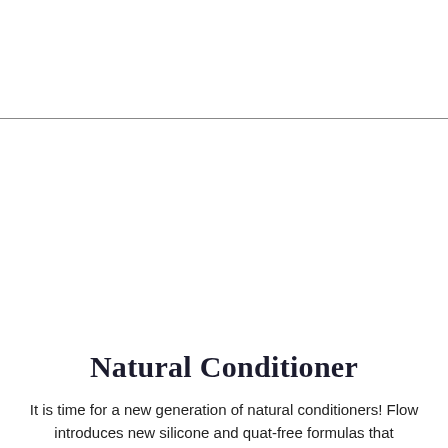Natural Conditioner
It is time for a new generation of natural conditioners! Flow introduces new silicone and quat-free formulas that effectively detangle the hair and make it as smooth as professional hair products.